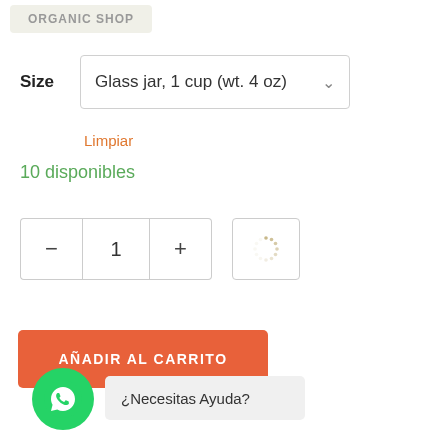ORGANIC SHOP
Size   Glass jar, 1 cup (wt. 4 oz)
Limpiar
10 disponibles
— 1 +
AÑADIR AL CARRITO
¿Necesitas Ayuda?